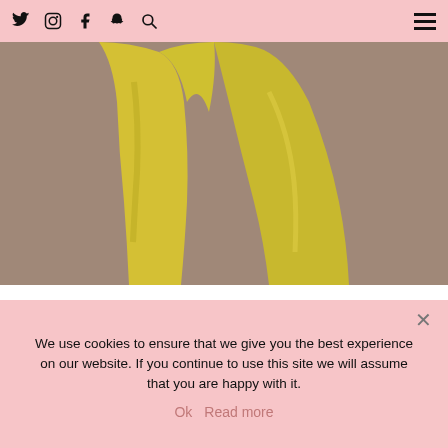Social media icons: Twitter, Instagram, Facebook, Snapchat, Search; Hamburger menu
[Figure (photo): Close-up photo of a person wearing wide-leg yellow/chartreuse trousers against a brown/taupe background. Only the lower body is visible from waist to below knee.]
Ann Taylor is my go-to destination for wear-to-work clothing and accessories. All of their styles are sophisticated and...
We use cookies to ensure that we give you the best experience on our website. If you continue to use this site we will assume that you are happy with it.
Ok  Read more